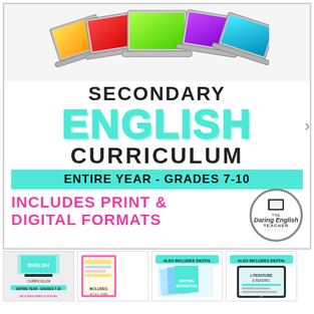[Figure (illustration): Five colorful laptops arranged in a fan/arc: orange, red/green, green (center), purple, blue/teal, displayed against a light background]
SECONDARY ENGLISH CURRICULUM
ENTIRE YEAR - GRADES 7-10
INCLUDES PRINT & DIGITAL FORMATS
[Figure (logo): The Daring English Teacher circular logo with notebook graphic]
[Figure (illustration): Thumbnail 1: Secondary English Curriculum cover with colorful laptops and teal ENGLISH text]
[Figure (illustration): Thumbnail 2: Includes section with pink and yellow highlighted pages]
[Figure (illustration): Thumbnail 3: Writing Instruction section with colorful worksheet pages]
[Figure (illustration): Thumbnail 4: Literature & Reading section shown on tablet device]